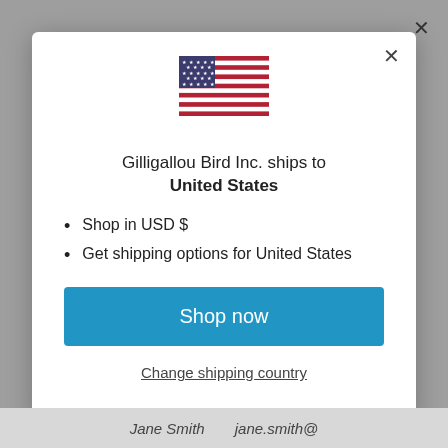[Figure (illustration): US flag SVG illustration shown at top center of modal dialog]
Gilligallou Bird Inc. ships to United States
Shop in USD $
Get shipping options for United States
Shop now
Change shipping country